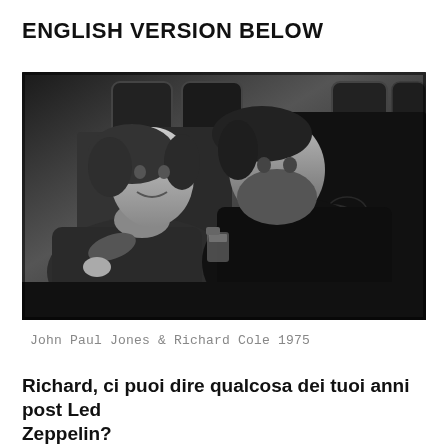ENGLISH VERSION BELOW
[Figure (photo): Black and white photograph of two men sitting together, seemingly on an airplane or vehicle. The man on the left has medium-length hair and is wearing a jacket; the man on the right has a beard and is wearing dark clothing. They appear to be in conversation.]
John Paul Jones & Richard Cole 1975
Richard, ci puoi dire qualcosa dei tuoi anni post Led Zeppelin?